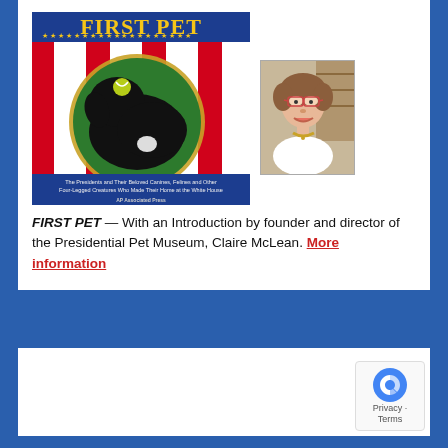[Figure (photo): Book cover for 'FIRST PET' showing a black dog (Bo Obama) with a tennis ball, red and white stripes background, gold decorative border, with subtitle text about Presidents and their pets, AP Associated Press logo. Next to it is a portrait photo of Claire McLean, an older woman with short hair, glasses, and a pearl necklace.]
FIRST PET — With an Introduction by founder and director of the Presidential Pet Museum, Claire McLean. More information